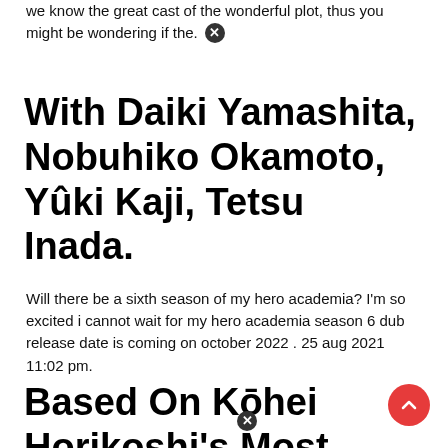we know the great cast of the wonderful plot, thus you might be wondering if the. ✕
With Daiki Yamashita, Nobuhiko Okamoto, Yûki Kaji, Tetsu Inada.
Will there be a sixth season of my hero academia? I'm so excited i cannot wait for my hero academia season 6 dub release date is coming on october 2022 . 25 aug 2021 11:02 pm.
Based On Kōhei Horikoshi's Most Successful Manga Series,